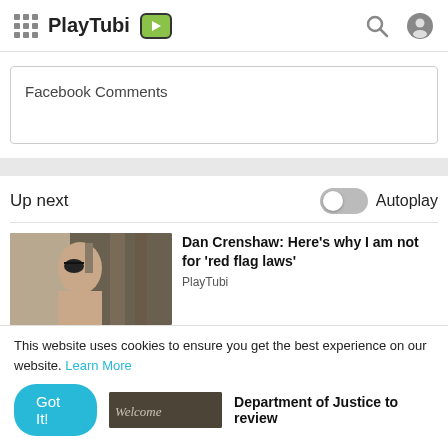PlayTubi
Facebook Comments
Up next
Autoplay
[Figure (screenshot): Thumbnail of Dan Crenshaw video]
Dan Crenshaw: Here's why I am not for 'red flag laws'
PlayTubi
This website uses cookies to ensure you get the best experience on our website. Learn More
[Figure (screenshot): Partial thumbnail of Department of Justice video]
Department of Justice to review